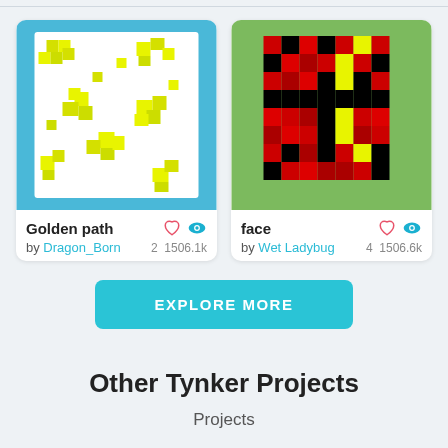[Figure (screenshot): Card for 'Golden path' project showing yellow flower-like pixel art on white background with light blue border, by Dragon_Born, 2 likes, 1506.1k views]
Golden path
by Dragon_Born
2  1506.1k
[Figure (screenshot): Card for 'face' project showing pixel art face made of red and black squares with yellow accents on green background, by Wet Ladybug, 4 likes, 1506.6k views]
face
by Wet Ladybug
4  1506.6k
EXPLORE MORE
Other Tynker Projects
Projects